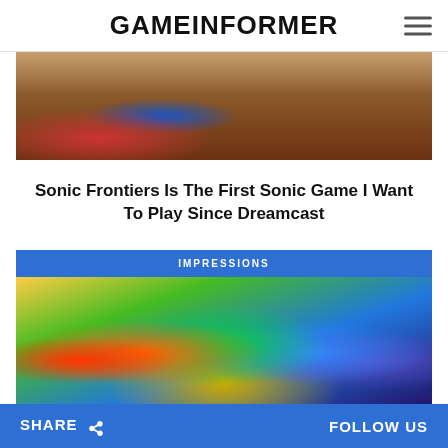GAMEINFORMER
[Figure (photo): Sonic character running on dirt terrain, partial view of red and blue shoes]
Sonic Frontiers Is The First Sonic Game I Want To Play Since Dreamcast
[Figure (photo): TMNT Teenage Mutant Ninja Turtles group illustration showing all four turtles in colorful comic art style, with IMPRESSIONS badge above]
TMNT's Cowabunga Collection Is Nostalgia Done Right
SHARE   FOLLOW US